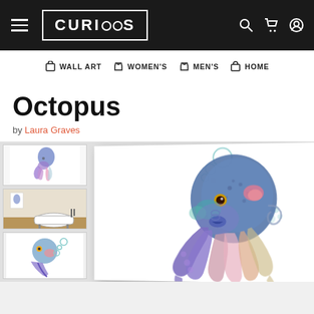CURIOOS — navigation bar with WALL ART, WOMEN'S, MEN'S, HOME categories
Octopus
by Laura Graves
[Figure (photo): Thumbnail 1: Octopus art print on white background]
[Figure (photo): Thumbnail 2: Octopus art print displayed in a room setting with bathtub]
[Figure (photo): Thumbnail 3: Partial view of octopus art]
[Figure (illustration): Main product image: Colorful watercolor-style octopus illustration in blue, purple, pink tones on white print, shown at angle]